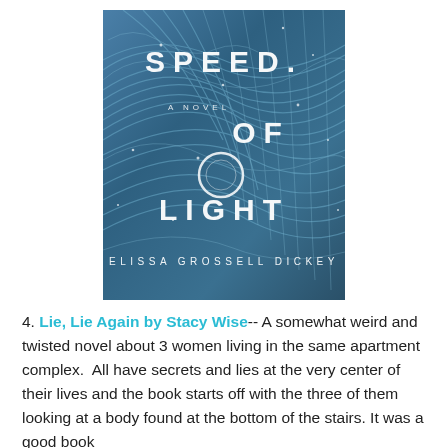[Figure (illustration): Book cover of 'Speed of Light: A Novel' by Elissa Grossell Dickey. Blue swirling feather-like texture background with white text reading 'SPEED OF LIGHT', 'A NOVEL', and 'ELISSA GROSSELL DICKEY'.]
4. Lie, Lie Again by Stacy Wise-- A somewhat weird and twisted novel about 3 women living in the same apartment complex.  All have secrets and lies at the very center of their lives and the book starts off with the three of them looking at a body found at the bottom of the stairs. It was a good book